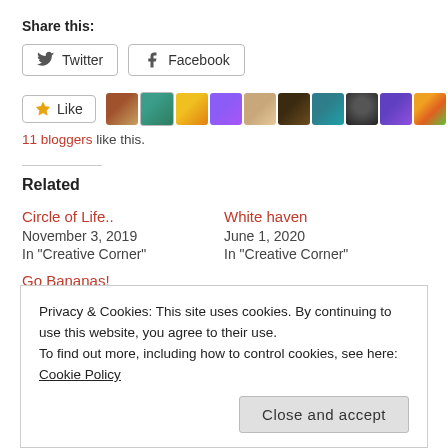Share this:
Twitter | Facebook (share buttons)
[Figure (other): Like button with star icon, followed by 9 blogger avatar thumbnails]
11 bloggers like this.
Related
Circle of Life..
November 3, 2019
In "Creative Corner"
White haven
June 1, 2020
In "Creative Corner"
Go Bananas!
Privacy & Cookies: This site uses cookies. By continuing to use this website, you agree to their use.
To find out more, including how to control cookies, see here: Cookie Policy
Close and accept